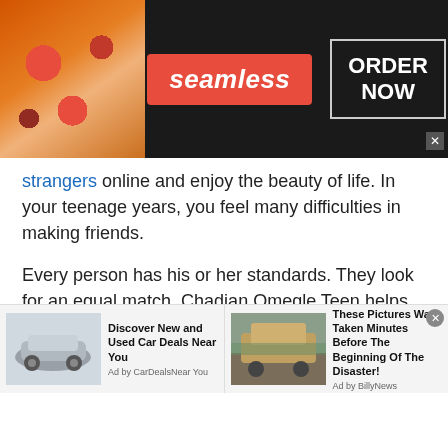[Figure (screenshot): Seamless food delivery advertisement banner with pizza image on left, red 'seamless' badge in center, and 'ORDER NOW' button on right against dark background]
strangers online and enjoy the beauty of life. In your teenage years, you feel many difficulties in making friends.
Every person has his or her standards. They look for an equal match. Chadian Omegle Teen helps you find your match easily. Omegle is best for you to chat online. You can also participate in free chat rooms online and online chat rooms and make new friends.
Chadian Omegle Teen supports text
[Figure (screenshot): Bottom advertisement strip with two ads: 'Discover New and Used Car Deals Near You' by CarDealsNearYou, and 'These Pictures Was Taken Minutes Before The Beginning Of The Disaster!' by BillyNews]